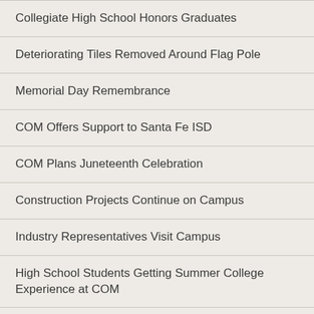Collegiate High School Honors Graduates
Deteriorating Tiles Removed Around Flag Pole
Memorial Day Remembrance
COM Offers Support to Santa Fe ISD
COM Plans Juneteenth Celebration
Construction Projects Continue on Campus
Industry Representatives Visit Campus
High School Students Getting Summer College Experience at COM